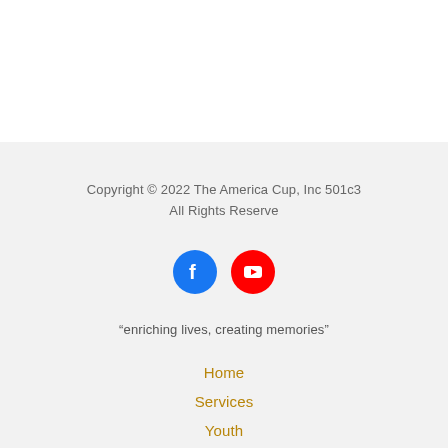Copyright © 2022 The America Cup, Inc 501c3
All Rights Reserve
[Figure (illustration): Facebook and YouTube social media icons — a blue circle with white Facebook 'f' logo and a red circle with white YouTube play button icon]
“enriching lives, creating memories”
Home
Services
Youth